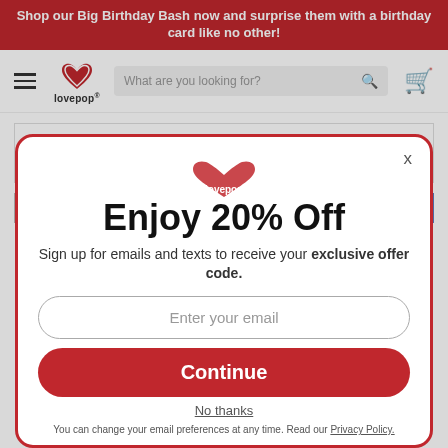Shop our Big Birthday Bash now and surprise them with a birthday card like no other!
[Figure (screenshot): Lovepop website navigation bar with hamburger menu, lovepop logo, search bar reading 'What are you looking for?', and red shopping cart icon]
Add To Cart
$37 value
[Figure (screenshot): Modal popup with red border on Lovepop website showing 'Enjoy 20% Off' offer with email signup form, Continue button, No thanks link, and privacy policy note]
Enjoy 20% Off
Sign up for emails and texts to receive your exclusive offer code.
Enter your email
Continue
No thanks
You can change your email preferences at any time. Read our Privacy Policy.